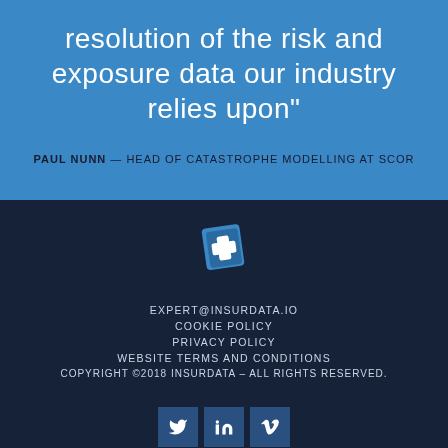resolution of the risk and exposure data our industry relies upon"
PAUL NUNN — HEAD OF CATASTROPHE MODELLING AT SCOR
[Figure (logo): Insurdata logo: blue shield/cross icon]
EXPERT@INSURDATA.IO
COOKIE POLICY
PRIVACY POLICY
WEBSITE TERMS AND CONDITIONS
COPYRIGHT ©2018 INSURDATA – ALL RIGHTS RESERVED.
[Figure (other): Social media icons: Twitter, LinkedIn, Vimeo]